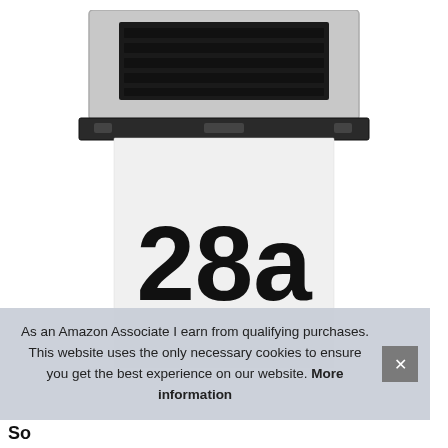[Figure (photo): Solar house number light with stainless steel solar panel top and white illuminated panel displaying '28a' in large bold black text]
As an Amazon Associate I earn from qualifying purchases. This website uses the only necessary cookies to ensure you get the best experience on our website. More information
So